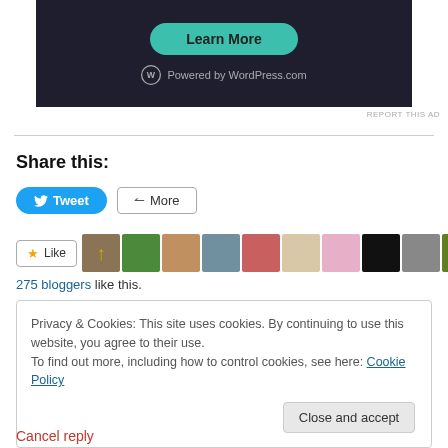[Figure (screenshot): Dark ad banner with 'Learn More' teal button and 'Powered by WordPress.com' text]
REPORT THIS AD
Share this:
[Figure (screenshot): Tweet button (blue, rounded) and More button (outlined)]
[Figure (screenshot): Like button with star icon followed by a row of blogger avatar thumbnails]
275 bloggers like this.
Privacy & Cookies: This site uses cookies. By continuing to use this website, you agree to their use.
To find out more, including how to control cookies, see here: Cookie Policy
Close and accept
Cancel reply